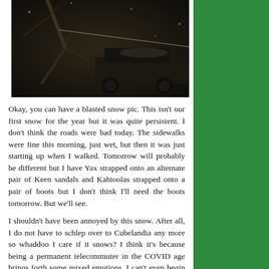[Figure (photo): Dark photograph showing snow scene with tree branches and what appears to be a vehicle]
Okay, you can have a blasted snow pic. This isn't our first snow for the year but it was quite persistent. I don't think the roads were bad today. The sidewalks were fine this morning, just wet, but then it was just starting up when I walked. Tomorrow will probably be different but I have Yax strapped onto an alternate pair of Keen sandals and Kahtoolas strapped onto a pair of boots but I don't think I'll need the boots tomorrow. But we'll see.
I shouldn't have been annoyed by this snow. After all, I do not have to schlep over to Cubelandia any more so whaddoo I care if it snows? I think it's because being a permanent telecommuter in the COVID age brings forth some mixed emotions. I can't even begin to put those into comprehensible words today…
My global fintech company still owns leases the little backwater building on The Planet Ann Arbor that I